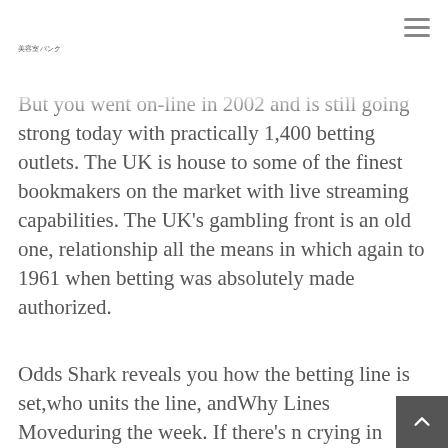美容室バンク
But you went on-line in 2002 and is still going strong today with practically 1,400 betting outlets. The UK is house to some of the finest bookmakers on the market with live streaming capabilities. The UK's gambling front is an old one, relationship all the means in which again to 1961 when betting was absolutely made authorized.
Odds Shark reveals you how the betting line is set,who units the line, andWhy Lines Moveduring the week. If there's no crying in baseball, then we significantly...